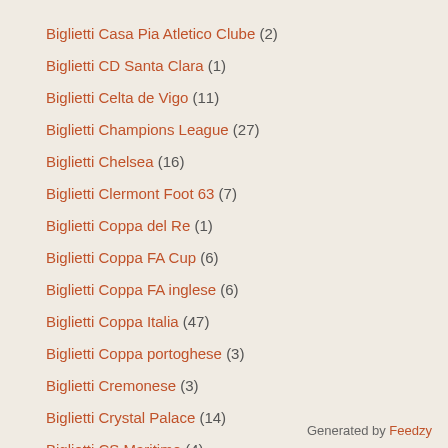Biglietti Casa Pia Atletico Clube (2)
Biglietti CD Santa Clara (1)
Biglietti Celta de Vigo (11)
Biglietti Champions League (27)
Biglietti Chelsea (16)
Biglietti Clermont Foot 63 (7)
Biglietti Coppa del Re (1)
Biglietti Coppa FA Cup (6)
Biglietti Coppa FA inglese (6)
Biglietti Coppa Italia (47)
Biglietti Coppa portoghese (3)
Biglietti Cremonese (3)
Biglietti Crystal Palace (14)
Biglietti CS Maritimo (4)
Biglietti Eintracht Francoforte (12)
Generated by Feedzy